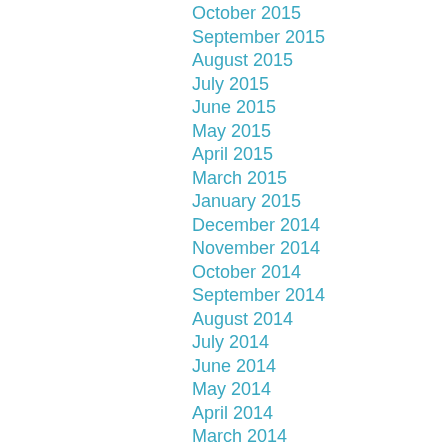October 2015
September 2015
August 2015
July 2015
June 2015
May 2015
April 2015
March 2015
January 2015
December 2014
November 2014
October 2014
September 2014
August 2014
July 2014
June 2014
May 2014
April 2014
March 2014
February 2014